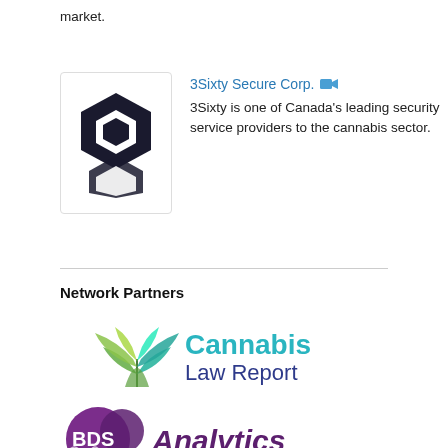market.
3Sixty Secure Corp. [camera icon]
3Sixty is one of Canada's leading security service providers to the cannabis sector.
Network Partners
[Figure (logo): Cannabis Law Report logo with cannabis leaf graphic]
[Figure (logo): BDS Analytics logo with purple circle graphic]
[Figure (logo): CSE Canadian Securities Exchange logo]